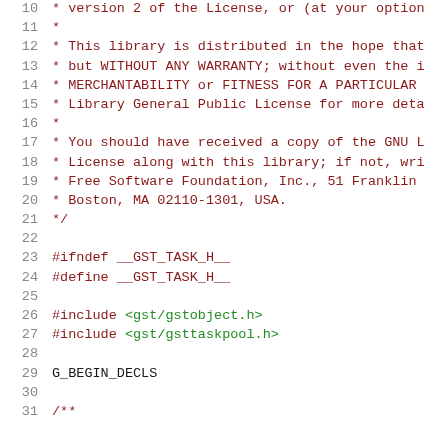Source code listing showing C header file with license comment block and preprocessor directives. Lines 10-31 visible.